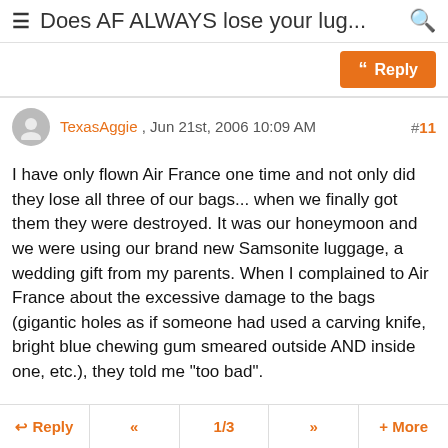≡ Does AF ALWAYS lose your lug... 🔍
Reply
TexasAggie , Jun 21st, 2006 10:09 AM #11
I have only flown Air France one time and not only did they lose all three of our bags... when we finally got them they were destroyed. It was our honeymoon and we were using our brand new Samsonite luggage, a wedding gift from my parents. When I complained to Air France about the excessive damage to the bags (gigantic holes as if someone had used a carving knife, bright blue chewing gum smeared outside AND inside one, etc.), they told me "too bad".

NEVER again would I fly AF. Iberia gets a terrible rap and I've had much better service from them.
↩ Reply  «  1/3  »  + More